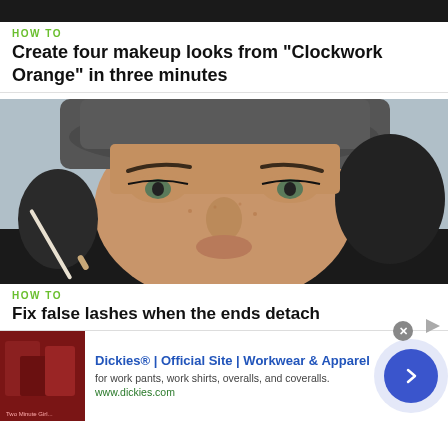[Figure (photo): Top partial image, dark background, cropped at top]
HOW TO
Create four makeup looks from "Clockwork Orange" in three minutes
[Figure (photo): Close-up photo of a person wearing a flat cap, holding a makeup brush near their eye, demonstrating a makeup look]
HOW TO
Fix false lashes when the ends detach
[Figure (infographic): Advertisement banner: Dickies Official Site Workwear & Apparel ad with product thumbnail, text, and a blue circular arrow button]